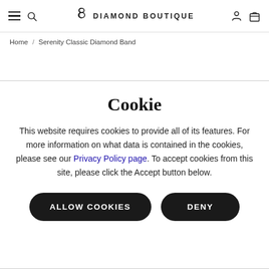Diamond Boutique — navigation header with hamburger menu, search, logo, user account and bag icons
Home / Serenity Classic Diamond Band
Cookie
This website requires cookies to provide all of its features. For more information on what data is contained in the cookies, please see our Privacy Policy page. To accept cookies from this site, please click the Accept button below.
Allow Cookies | Deny